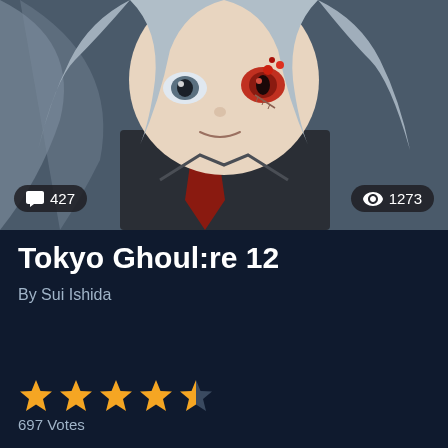[Figure (illustration): Anime/manga style illustration of a character with silver/white hair and a red eye, wearing dark clothing with a red tie, smiling slightly. Character appears to be from Tokyo Ghoul:re manga.]
💬 427
👁 1273
Tokyo Ghoul:re 12
By Sui Ishida
★★★★☆ 697 Votes